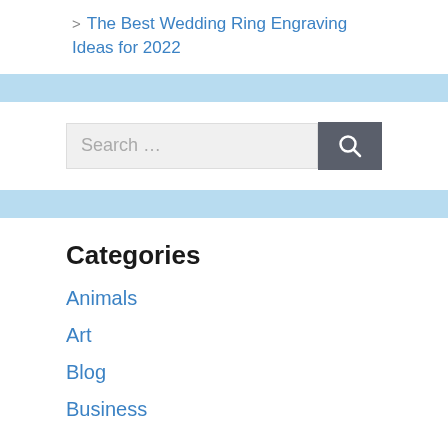> The Best Wedding Ring Engraving Ideas for 2022
Search …
Categories
Animals
Art
Blog
Business